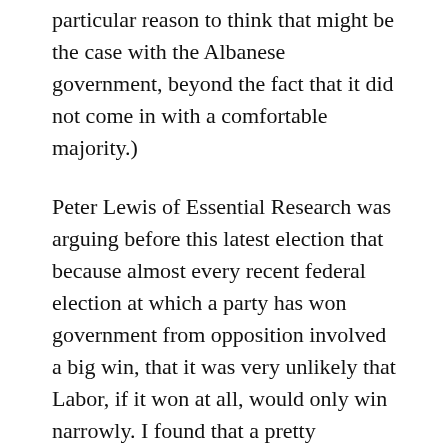particular reason to think that might be the case with the Albanese government, beyond the fact that it did not come in with a comfortable majority.)
Peter Lewis of Essential Research was arguing before this latest election that because almost every recent federal election at which a party has won government from opposition involved a big win, that it was very unlikely that Labor, if it won at all, would only win narrowly. I found that a pretty unconvincing argument. It might have been a typical pattern, but there's no magical cosmic electoral force that means it always has to be that way.
The other point of course is that if you add